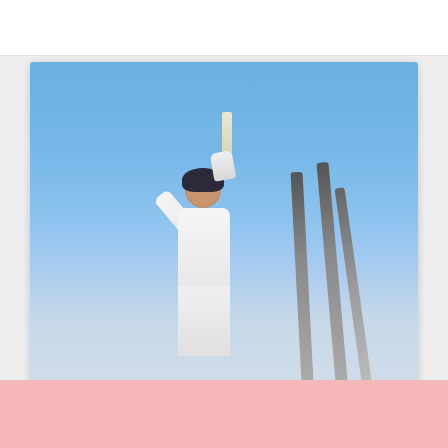[Figure (photo): Cricket player in white uniform and helmet, raising one arm with a gloved hand holding a bat, celebrating against a blue sky background. Cricket stumps are visible in the background on the right side.]
How Does Cricket Betting Work?